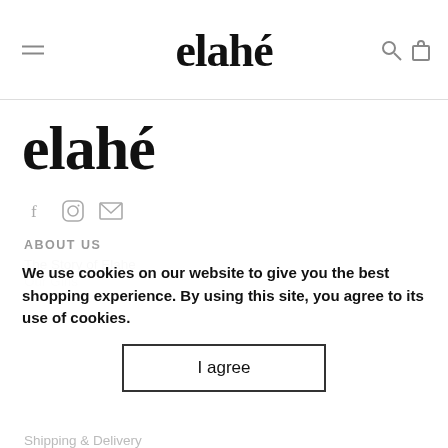elahé
elahé
[Figure (logo): Social media icons: Facebook, Instagram, Email]
ABOUT US
The Story of Elahe
Our Girls
We use cookies on our website to give you the best shopping experience. By using this site, you agree to its use of cookies.
Shipping & Delivery
Gift Cards
Terms & Conditions